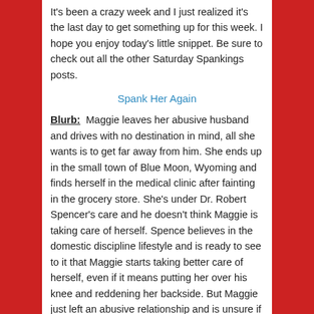It's been a crazy week and I just realized it's the last day to get something up for this week. I hope you enjoy today's little snippet. Be sure to check out all the other Saturday Spankings posts.
Spank Her Again
Blurb: Maggie leaves her abusive husband and drives with no destination in mind, all she wants is to get far away from him. She ends up in the small town of Blue Moon, Wyoming and finds herself in the medical clinic after fainting in the grocery store. She's under Dr. Robert Spencer's care and he doesn't think Maggie is taking care of herself. Spence believes in the domestic discipline lifestyle and is ready to see to it that Maggie starts taking better care of herself, even if it means putting her over his knee and reddening her backside. But Maggie just left an abusive relationship and is unsure if she wants to get involved with a man who wants to spank her.
[Figure (photo): Partial image visible at bottom of page, appears to be a book cover photo with warm brown tones]